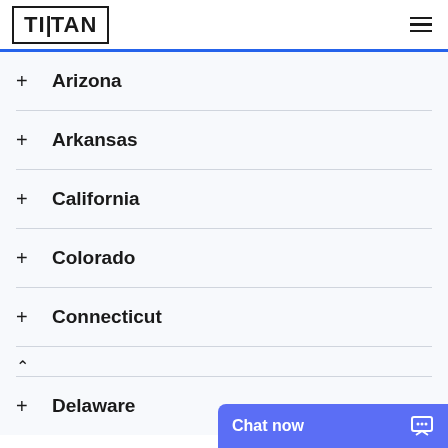TITAN
Arizona
Arkansas
California
Colorado
Connecticut
Delaware
Chat now